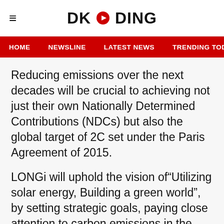DKODING
HOME  NEWSLINE  LATEST NEWS  TRENDING TODAY  ENT
Reducing emissions over the next decades will be crucial to achieving not just their own Nationally Determined Contributions (NDCs) but also the global target of 2C set under the Paris Agreement of 2015.
LONGi will uphold the vision of“Utilizing solar energy, Building a green world”, by setting strategic goals, paying close attention to carbon emissions in the production and operation process, while sharing energy-saving, carbon emission reduction and new energy technology development experience to create a better